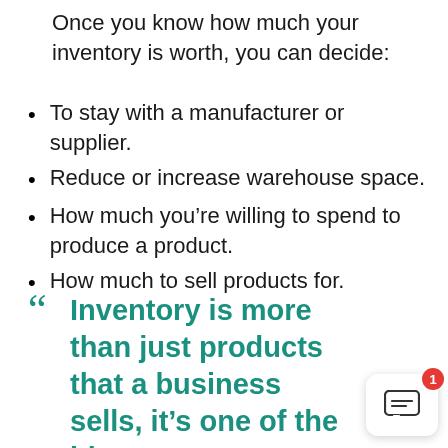Once you know how much your inventory is worth, you can decide:
To stay with a manufacturer or supplier.
Reduce or increase warehouse space.
How much you're willing to spend to produce a product.
How much to sell products for.
“ Inventory is more than just products that a business sells, it’s one of the biggest investments a retailer makes. Having an